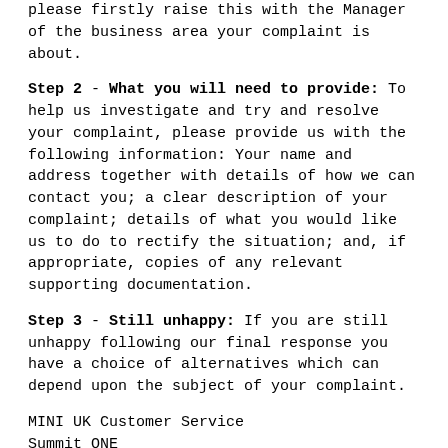please firstly raise this with the Manager of the business area your complaint is about.
Step 2 - What you will need to provide: To help us investigate and try and resolve your complaint, please provide us with the following information: Your name and address together with details of how we can contact you; a clear description of your complaint; details of what you would like us to do to rectify the situation; and, if appropriate, copies of any relevant supporting documentation.
Step 3 - Still unhappy: If you are still unhappy following our final response you have a choice of alternatives which can depend upon the subject of your complaint.
MINI UK Customer Service
Summit ONE
Summit Avenue
Farnborough
Hampshire
GU14 0FB